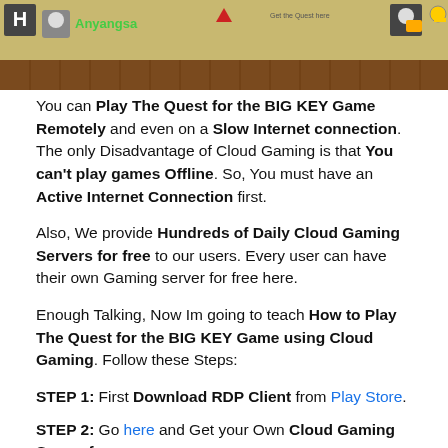[Figure (screenshot): Screenshot of a pixel-art platformer game 'Quest for the BIG KEY' showing game characters and environment with brown/tan color scheme]
You can Play The Quest for the BIG KEY Game Remotely and even on a Slow Internet connection. The only Disadvantage of Cloud Gaming is that You can't play games Offline. So, You must have an Active Internet Connection first.
Also, We provide Hundreds of Daily Cloud Gaming Servers for free to our users. Every user can have their own Gaming server for free here.
Enough Talking, Now Im going to teach How to Play The Quest for the BIG KEY Game using Cloud Gaming. Follow these Steps:
STEP 1: First Download RDP Client from Play Store.
STEP 2: Go here and Get your Own Cloud Gaming Server for